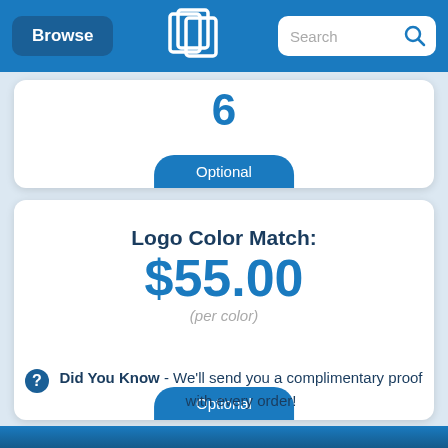Browse | [Logo] | Search
6
Optional
Logo Color Match: $55.00 (per color)
Optional
Did You Know - We'll send you a complimentary proof with every order!